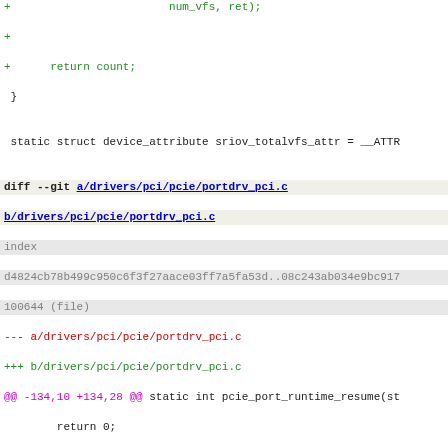code diff showing portdrv_pci.c changes including pci_dev_pme_poll function addition and pcie_port_runtime_idle modifications
[Figure (screenshot): Source code diff view showing git diff of drivers/pci/pcie/portdrv_pci.c with added lines in green for pci_dev_pme_poll function and context lines]